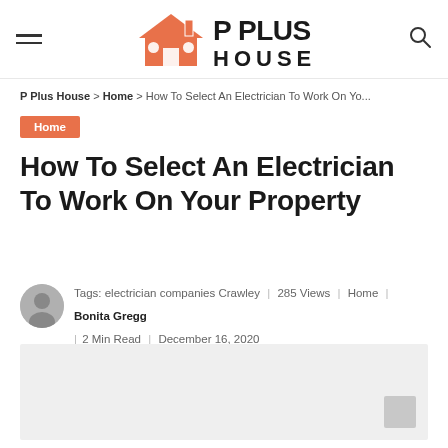P Plus House — navigation header with logo, hamburger menu, and search icon
P Plus House > Home > How To Select An Electrician To Work On Yo...
Home
How To Select An Electrician To Work On Your Property
Tags: electrician companies Crawley | 285 Views | Home | Bonita Gregg | 2 Min Read | December 16, 2020
[Figure (photo): Featured article image placeholder — light grey rectangle with a small grey scroll-to-top button in the bottom-right corner]